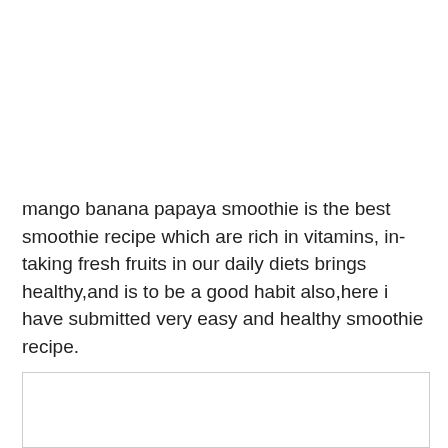mango banana papaya smoothie is the best smoothie recipe which are rich in vitamins, in-taking fresh fruits in our daily diets brings healthy,and is to be a good habit also,here i have submitted very easy and healthy smoothie recipe.
[Figure (photo): A partially visible image box with a light border, appearing at the bottom of the page, content not visible.]